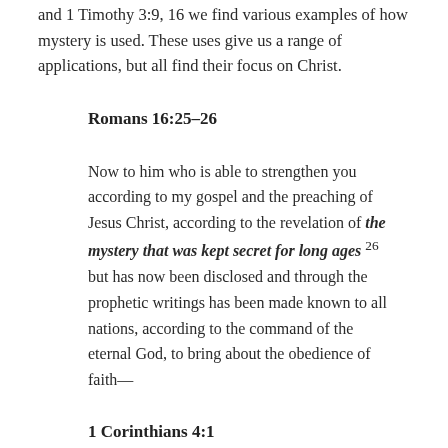and 1 Timothy 3:9, 16 we find various examples of how mystery is used. These uses give us a range of applications, but all find their focus on Christ.
Romans 16:25–26
Now to him who is able to strengthen you according to my gospel and the preaching of Jesus Christ, according to the revelation of the mystery that was kept secret for long ages 26 but has now been disclosed and through the prophetic writings has been made known to all nations, according to the command of the eternal God, to bring about the obedience of faith—
1 Corinthians 4:1